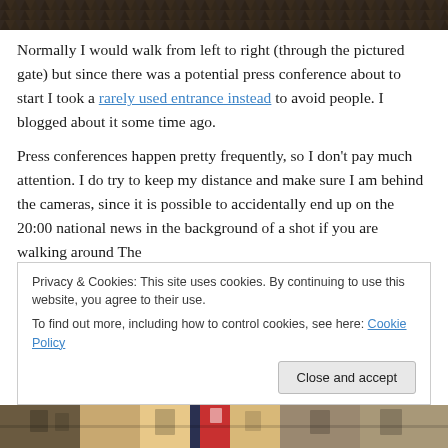[Figure (photo): Top portion of an outdoor photo showing a dark patterned surface, possibly a gate or fencing structure with a herringbone or chevron pattern in dark tones.]
Normally I would walk from left to right (through the pictured gate) but since there was a potential press conference about to start I took a rarely used entrance instead to avoid people. I blogged about it some time ago.
Press conferences happen pretty frequently, so I don't pay much attention. I do try to keep my distance and make sure I am behind the cameras, since it is possible to accidentally end up on the 20:00 national news in the background of a shot if you are walking around The
Privacy & Cookies: This site uses cookies. By continuing to use this website, you agree to their use.
To find out more, including how to control cookies, see here: Cookie Policy
Close and accept
[Figure (photo): Bottom strip of a street scene photo showing colorful storefronts and buildings.]